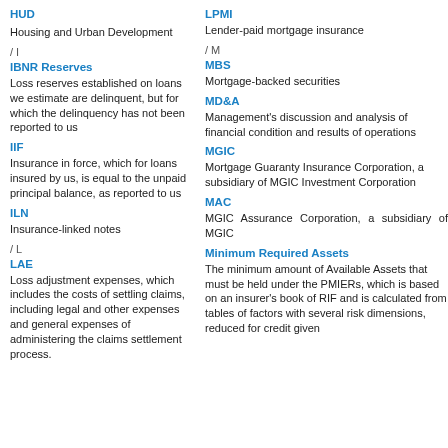HUD
Housing and Urban Development
/ I
IBNR Reserves
Loss reserves established on loans we estimate are delinquent, but for which the delinquency has not been reported to us
IIF
Insurance in force, which for loans insured by us, is equal to the unpaid principal balance, as reported to us
ILN
Insurance-linked notes
/ L
LAE
Loss adjustment expenses, which includes the costs of settling claims, including legal and other expenses and general expenses of administering the claims settlement process.
LPMI
Lender-paid mortgage insurance
/ M
MBS
Mortgage-backed securities
MD&A
Management's discussion and analysis of financial condition and results of operations
MGIC
Mortgage Guaranty Insurance Corporation, a subsidiary of MGIC Investment Corporation
MAC
MGIC Assurance Corporation, a subsidiary of MGIC
Minimum Required Assets
The minimum amount of Available Assets that must be held under the PMIERs, which is based on an insurer's book of RIF and is calculated from tables of factors with several risk dimensions, reduced for credit given for risk-reducing reinsurance